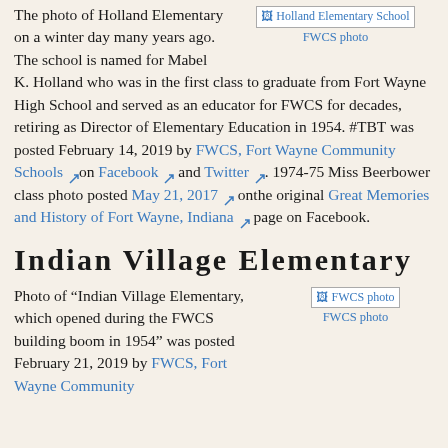The photo of Holland Elementary on a winter day many years ago. The school is named for Mabel K. Holland who was in the first class to graduate from Fort Wayne High School and served as an educator for FWCS for decades, retiring as Director of Elementary Education in 1954. #TBT was posted February 14, 2019 by FWCS, Fort Wayne Community Schools on Facebook and Twitter. 1974-75 Miss Beerbower class photo posted May 21, 2017 onthe original Great Memories and History of Fort Wayne, Indiana page on Facebook.
[Figure (photo): Holland Elementary School FWCS photo placeholder image]
FWCS photo
Indian Village Elementary
Photo of "Indian Village Elementary, which opened during the FWCS building boom in 1954" was posted February 21, 2019 by FWCS, Fort Wayne Community
[Figure (photo): FWCS photo placeholder image]
FWCS photo